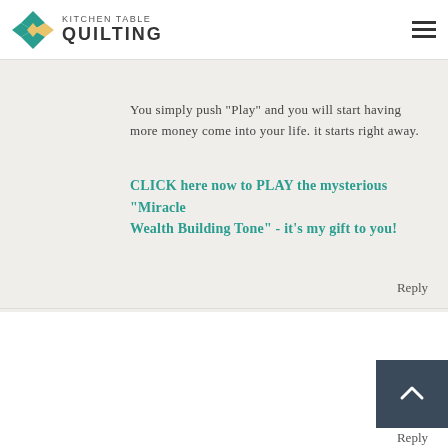KITCHEN TABLE QUILTING
you to PLAY a real-life "miracle money-magnet tone" I developed.
You simply push "Play" and you will start having more money come into your life. it starts right away.
CLICK here now to PLAY the mysterious "Miracle Wealth Building Tone" - it's my gift to you!
Reply
Roman Davis
March 22, 2020 at 10:55 PM
This is very brilliant blog about new invention that are helpful for life.
Assignment writing services
Reply